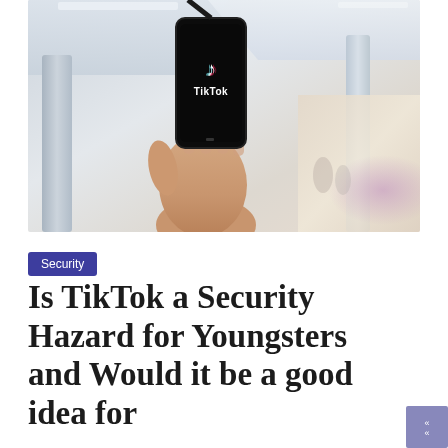[Figure (photo): A hand holding a smartphone displaying the TikTok logo and name on a black screen, photographed in what appears to be a shopping mall with bright ceiling lights and blurred background.]
Security
Is TikTok a Security Hazard for Youngsters and Would it be a good idea for